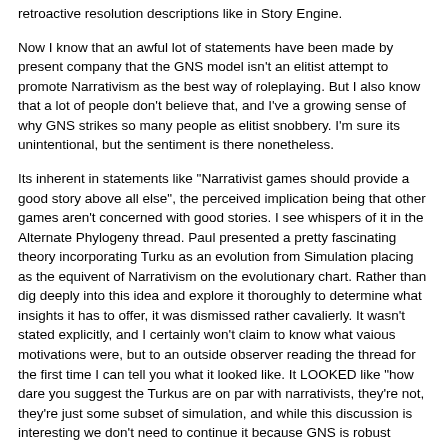retroactive resolution descriptions like in Story Engine.
Now I know that an awful lot of statements have been made by present company that the GNS model isn't an elitist attempt to promote Narrativism as the best way of roleplaying.  But I also know that a lot of people don't believe that, and I've a growing sense of why GNS strikes so many people as elitist snobbery.  I'm sure its unintentional, but the sentiment is there nonetheless.
Its inherent in statements like "Narrativist games should provide a good story above all else", the perceived implication being that other games aren't concerned with good stories.  I see whispers of it in the Alternate Phylogeny thread.  Paul presented a pretty fascinating theory incorporating Turku as an evolution from Simulation placing as the equivent of Narrativism on the evolutionary chart.  Rather than dig deeply into this idea and explore it thoroughly to determine what insights it has to offer, it was dismissed rather cavalierly.  It wasn't stated explicitly, and I certainly won't claim to know what vaious motivations were, but to an outside observer reading the thread for the first time I can tell you what it looked like.  It LOOKED like "how dare you suggest the Turkus are on par with narrativists, they're not, they're just some subset of simulation, and while this discussion is interesting we don't need to continue it because GNS is robust enough as is to not need further development".